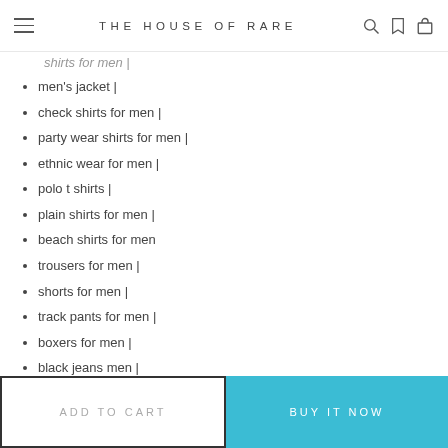THE HOUSE OF RARE
shirts for men  |
men's jacket  |
check shirts for men  |
party wear shirts for men  |
ethnic wear for men  |
polo t shirts  |
plain shirts for men  |
beach shirts for men
trousers for men  |
shorts for men  |
track pants for men  |
boxers for men  |
black jeans men  |
jeans for men  |
co ords men  |
Footwear: sneakers for men  |
ADD TO CART
BUY IT NOW